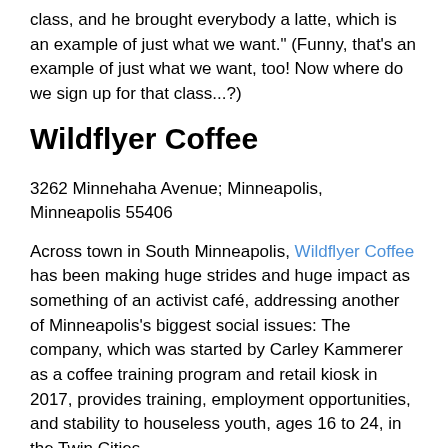class, and he brought everybody a latte, which is an example of just what we want." (Funny, that's an example of just what we want, too! Now where do we sign up for that class...?)
Wildflyer Coffee
3262 Minnehaha Avenue; Minneapolis, Minneapolis 55406
Across town in South Minneapolis, Wildflyer Coffee has been making huge strides and huge impact as something of an activist café, addressing another of Minneapolis's biggest social issues: The company, which was started by Carley Kammerer as a coffee training program and retail kiosk in 2017, provides training, employment opportunities, and stability to houseless youth, ages 16 to 24, in the Twin Cities.